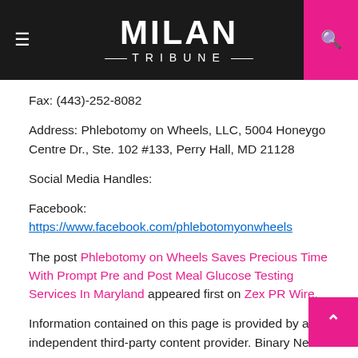MILAN TRIBUNE
Fax: (443)-252-8082
Address: Phlebotomy on Wheels, LLC, 5004 Honeygo Centre Dr., Ste. 102 #133, Perry Hall, MD 21128
Social Media Handles:
Facebook:
https://www.facebook.com/phlebotomyonwheels
The post Phlebotomy on Wheels Saves Precious Time With Prompt Pre and Post Meal Glucose Testing Services In Maryland appeared first on Zex PR Wire.
Information contained on this page is provided by an independent third-party content provider. Binary News